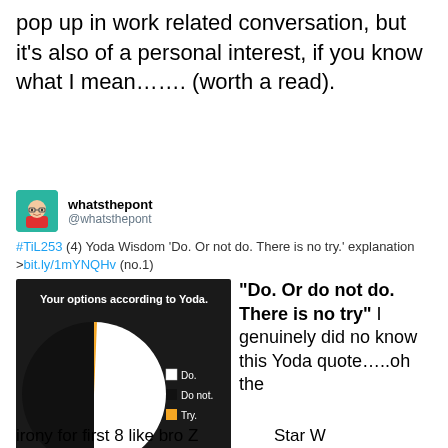pop up in work related conversation, but it's also of a personal interest, if you know what I mean……. (worth a read).
whatsthepont @whatsthepont
#TiL253 (4) Yoda Wisdom 'Do. Or not do. There is no try.' explanation >bit.ly/1mYNQHv (no.1)
[Figure (pie-chart): Pie chart with two large sections (white: Do, black: Do not) and a tiny orange slice (Try). Source: Graphiam.com]
"Do. Or do not do. There is no try" I genuinely did no know this Yoda quote…..oh the
irony for first 8 like bro Z Star W